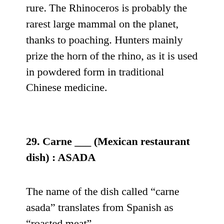rure. The Rhinoceros is probably the rarest large mammal on the planet, thanks to poaching. Hunters mainly prize the horn of the rhino, as it is used in powdered form in traditional Chinese medicine.
29. Carne ___ (Mexican restaurant dish) : ASADA
The name of the dish called “carne asada” translates from Spanish as “roasted meat”.
31. Montreal nine, once : EXPOS
The Washington Nationals (“Nats”) baseball team started out life as the Montreal Expos in 1969, and were the first Major League Baseball team in Canada. The Expos moved to Washington in 2005 becoming the Nats. There are only two Major Leagues teams that have never played in a World